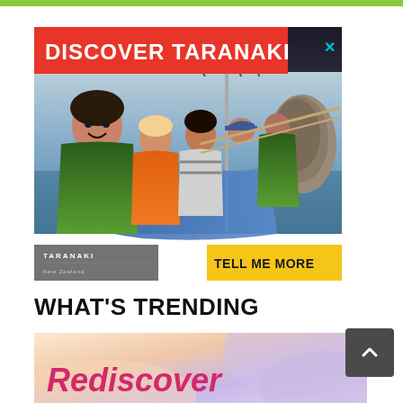[Figure (illustration): Green horizontal bar at the top of the page, part of a website navigation or header.]
[Figure (photo): Advertisement for Taranaki tourism. Shows a group of people on a boat wearing life vests on the ocean with a rocky outcrop visible in the background. Red banner at top reads DISCOVER TARANAKI. Taranaki logo at bottom left. Orange/yellow button at bottom right reads TELL ME MORE. Close (X) button at top right.]
WHAT'S TRENDING
[Figure (illustration): Partial view of a trending article card with colorful abstract background (peach, purple tones) and pink italic text reading 'Rediscover' at the bottom.]